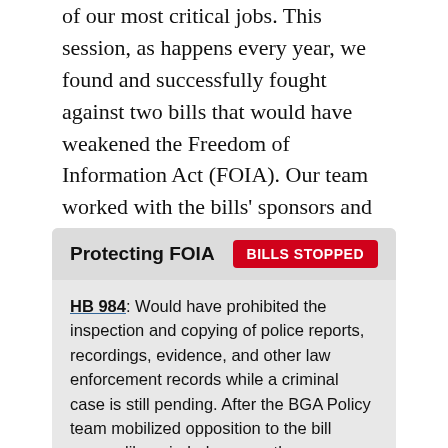of our most critical jobs. This session, as happens every year, we found and successfully fought against two bills that would have weakened the Freedom of Information Act (FOIA). Our team worked with the bills' sponsors and mobilized other good government and civic-minded organizations to stop these efforts closing off your access to government information.
Protecting FOIA
BILLS STOPPED
HB 984: Would have prohibited the inspection and copying of police reports, recordings, evidence, and other law enforcement records while a criminal case is still pending. After the BGA Policy team mobilized opposition to the bill among like-minded groups, the sponsor decided not to move forward and the bill died at the close of this session.